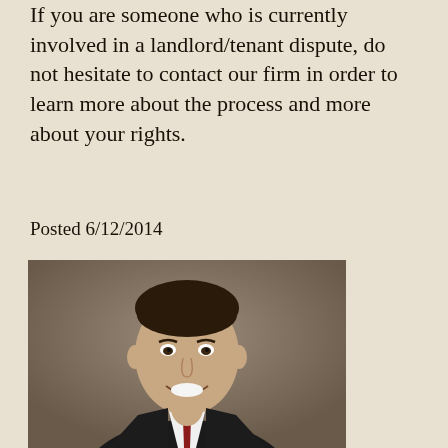If you are someone who is currently involved in a landlord/tenant dispute, do not hesitate to contact our firm in order to learn more about the process and more about your rights.
Posted 6/12/2014
[Figure (photo): Professional headshot of a young man in a dark suit with a red tie, smiling against a neutral brown background.]